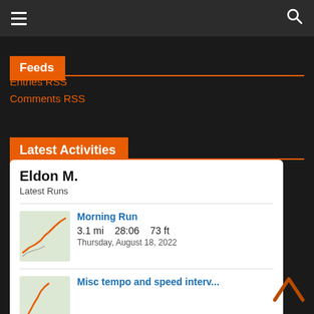≡  🔍
Feeds
Entries RSS
Comments RSS
Latest Activities
Eldon M.
Latest Runs
Morning Run
3.1 mi   28:06   73 ft
Thursday, August 18, 2022
Misc tempo and speed interv...